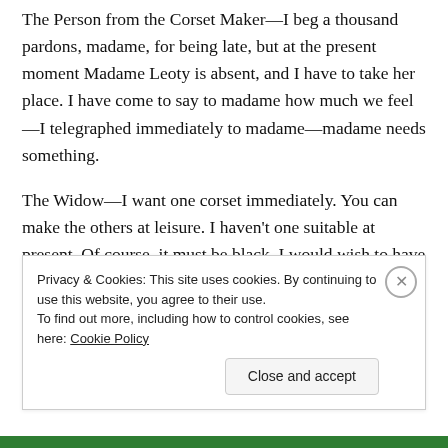The Person from the Corset Maker—I beg a thousand pardons, madame, for being late, but at the present moment Madame Leoty is absent, and I have to take her place. I have come to say to madame how much we feel—I telegraphed immediately to madame—madame needs something.
The Widow—I want one corset immediately. You can make the others at leisure. I haven't one suitable at present. Of course, it must be black. I would wish to have a plain, dull stuff, and above all things no satin, ...
Privacy & Cookies: This site uses cookies. By continuing to use this website, you agree to their use. To find out more, including how to control cookies, see here: Cookie Policy
Close and accept